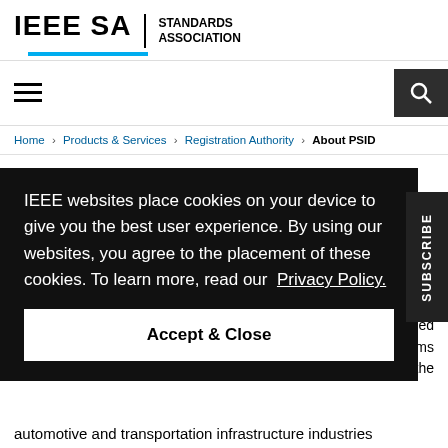[Figure (logo): IEEE SA Standards Association logo with blue underline]
Hamburger menu and search button navigation bar
Home > Products & Services > Registration Authority > About PSID
IEEE websites place cookies on your device to give you the best user experience. By using our websites, you agree to the placement of these cookies. To learn more, read our Privacy Policy.
Accept & Close
SUBSCRIBE
gnized stems by the automotive and transportation infrastructure industries